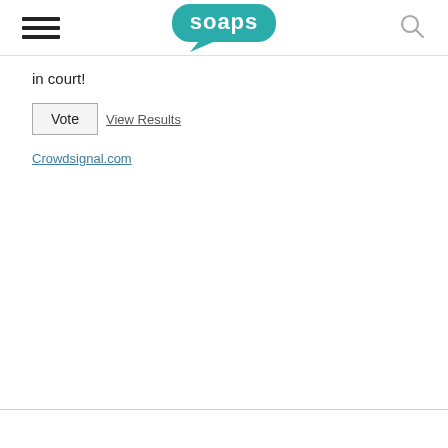soaps (logo)
in court!
Vote  View Results
Crowdsignal.com